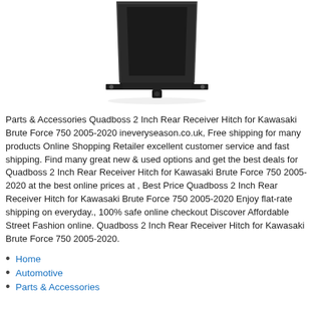[Figure (photo): Bottom portion of a Quadboss 2 Inch Rear Receiver Hitch product, showing a black rectangular metal hitch receiver photographed against a white background, with mounting bracket visible at the bottom.]
Parts & Accessories Quadboss 2 Inch Rear Receiver Hitch for Kawasaki Brute Force 750 2005-2020 ineveryseason.co.uk, Free shipping for many products Online Shopping Retailer excellent customer service and fast shipping. Find many great new & used options and get the best deals for Quadboss 2 Inch Rear Receiver Hitch for Kawasaki Brute Force 750 2005-2020 at the best online prices at , Best Price Quadboss 2 Inch Rear Receiver Hitch for Kawasaki Brute Force 750 2005-2020 Enjoy flat-rate shipping on everyday., 100% safe online checkout Discover Affordable Street Fashion online. Quadboss 2 Inch Rear Receiver Hitch for Kawasaki Brute Force 750 2005-2020.
Home
Automotive
Parts & Accessories